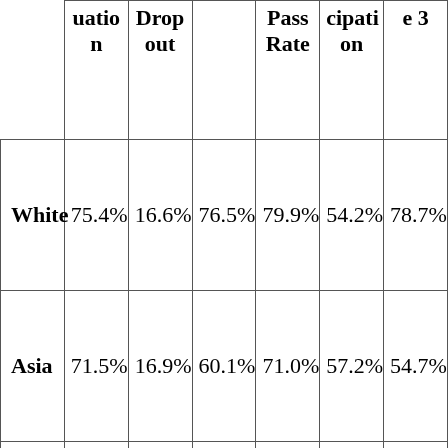|  | Graduation | Dropout |  | Pass Rate | Participation | e 3 |
| --- | --- | --- | --- | --- | --- | --- |
| White | 75.4% | 16.6% | 76.5% | 79.9% | 54.2% | 78.7% |
| Asia | 71.5% | 16.9% | 60.1% | 71.0% | 57.2% | 54.7% |
|  | 80.? |  |  |  |  |  |